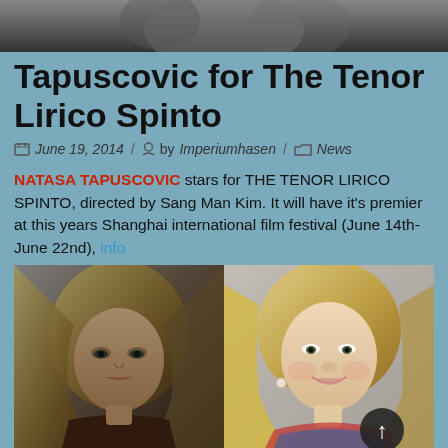[Figure (photo): Top cropped photo showing partial figures in dark tones]
Tapuscovic for The Tenor Lirico Spinto
June 19, 2014 / by Imperiumhasen / News
NATASA TAPUSCOVIC stars for THE TENOR LIRICO SPINTO, directed by Sang Man Kim. It will have it's premier at this years Shanghai international film festival (June 14th-June 22nd), info
[Figure (photo): Two side-by-side portrait photos of blonde women — left: dark moody studio portrait; right: lighter, smiling portrait]